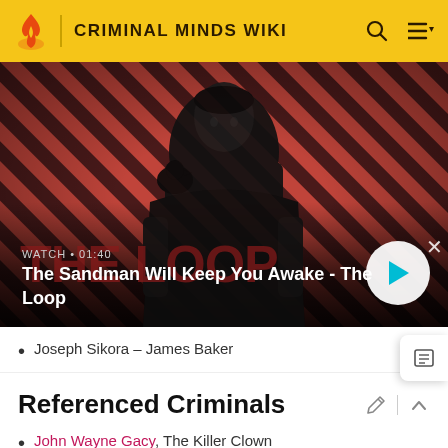CRIMINAL MINDS WIKI
[Figure (screenshot): Video thumbnail showing a dark figure with a raven on shoulder against a red and black striped background. Text overlay: WATCH • 01:40, The Sandman Will Keep You Awake - The Loop. Play button visible.]
Joseph Sikora – James Baker
Referenced Criminals
John Wayne Gacy, The Killer Clown